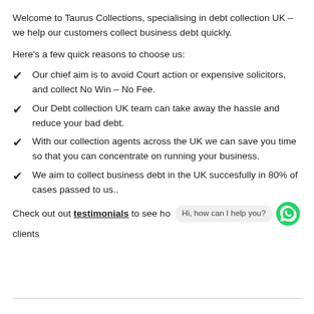Welcome to Taurus Collections, specialising in debt collection UK – we help our customers collect business debt quickly.
Here's a few quick reasons to choose us:
Our chief aim is to avoid Court action or expensive solicitors, and collect No Win – No Fee.
Our Debt collection UK team can take away the hassle and reduce your bad debt.
With our collection agents across the UK we can save you time so that you can concentrate on running your business.
We aim to collect business debt in the UK succesfully in 80% of cases passed to us..
Check out out testimonials to see how  Hi, how can I help you?  clients